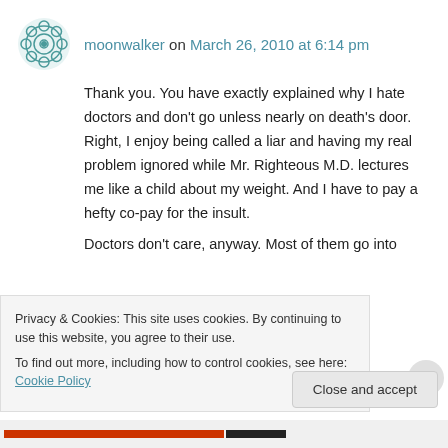moonwalker on March 26, 2010 at 6:14 pm
Thank you. You have exactly explained why I hate doctors and don't go unless nearly on death's door. Right, I enjoy being called a liar and having my real problem ignored while Mr. Righteous M.D. lectures me like a child about my weight. And I have to pay a hefty co-pay for the insult.
Doctors don't care, anyway. Most of them go into
Privacy & Cookies: This site uses cookies. By continuing to use this website, you agree to their use.
To find out more, including how to control cookies, see here: Cookie Policy
Close and accept